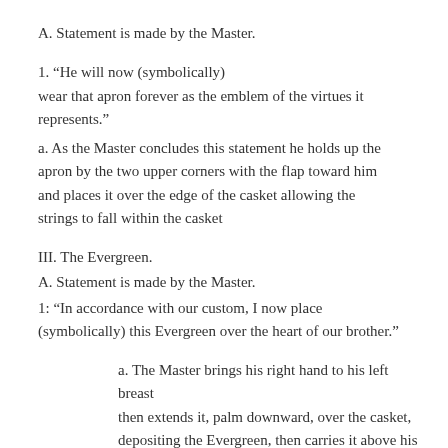A. Statement is made by the Master.
1. “He will now (symbolically) wear that apron forever as the emblem of the virtues it represents.”
a. As the Master concludes this statement he holds up the apron by the two upper corners with the flap toward him and places it over the edge of the casket allowing the strings to fall within the casket
III. The Evergreen.
A. Statement is made by the Master.
1: “In accordance with our custom, I now place (symbolically) this Evergreen over the heart of our brother.”
a. The Master brings his right hand to his left breast then extends it, palm downward, over the casket, depositing the Evergreen, then carries it above his